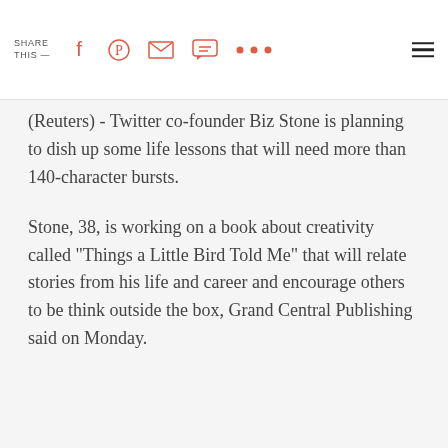SHARE THIS —
(Reuters) - Twitter co-founder Biz Stone is planning to dish up some life lessons that will need more than 140-character bursts.
Stone, 38, is working on a book about creativity called "Things a Little Bird Told Me" that will relate stories from his life and career and encourage others to be think outside the box, Grand Central Publishing said on Monday.